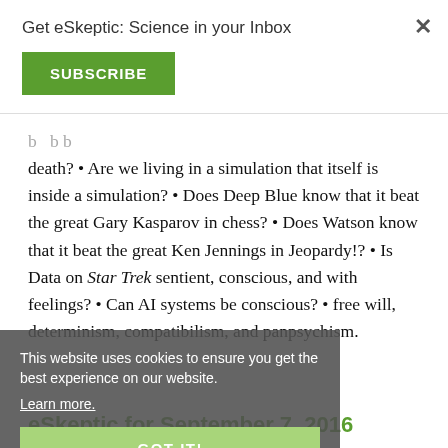Get eSkeptic: Science in your Inbox
SUBSCRIBE
death? • Are we living in a simulation that itself is inside a simulation? • Does Deep Blue know that it beat the great Gary Kasparov in chess? • Does Watson know that it beat the great Ken Jennings in Jeopardy!? • Is Data on Star Trek sentient, conscious, and with feelings? • Can AI systems be conscious? • free will, determinism, compatibilism, and panpsychism.
This website uses cookies to ensure you get the best experience on our website. Learn more.
GOT IT!
eSkeptic for September 7, 2016